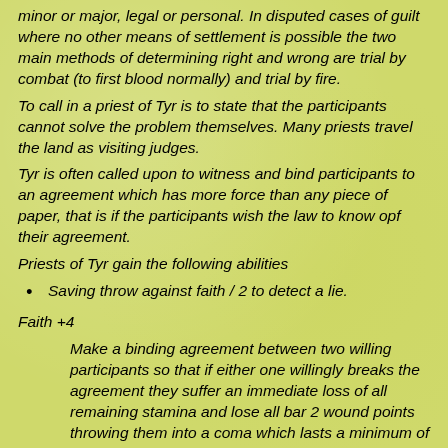minor or major, legal or personal. In disputed cases of guilt where no other means of settlement is possible the two main methods of determining right and wrong are trial by combat (to first blood normally) and trial by fire.
To call in a priest of Tyr is to state that the participants cannot solve the problem themselves. Many priests travel the land as visiting judges.
Tyr is often called upon to witness and bind participants to an agreement which has more force than any piece of paper, that is if the participants wish the law to know opf their agreement.
Priests of Tyr gain the following abilities
Saving throw against faith / 2 to detect a lie.
Faith +4
Make a binding agreement between two willing participants so that if either one willingly breaks the agreement they suffer an immediate loss of all remaining stamina and lose all bar 2 wound points throwing them into a coma which lasts a minimum of 1 week. The other party